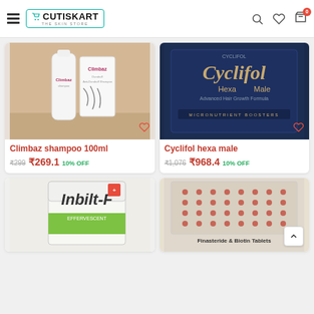Cutiskart - The Skin Store
[Figure (photo): Climbaz shampoo 100ml product photo showing white bottle and box]
Climbaz shampoo 100ml
₹299 ₹269.1 10% OFF
[Figure (photo): Cyclifol hexa male product box in dark navy blue packaging]
Cyclifol hexa male
₹1,076 ₹968.4 10% OFF
[Figure (photo): Inbilt-F product box with green and white packaging]
[Figure (photo): Finasteride & Biotin Tablets product blister pack]